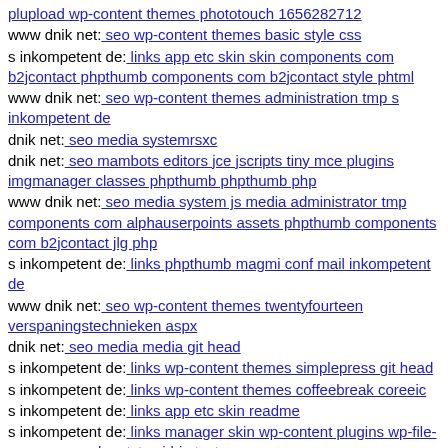plupload wp-content themes phototouch 1656282712
www dnik net: seo wp-content themes basic style css
s inkompetent de: links app etc skin skin components com b2jcontact phpthumb components com b2jcontact style phtml
www dnik net: seo wp-content themes administration tmp s inkompetent de
dnik net: seo media systemrsxc
dnik net: seo mambots editors jce jscripts tiny mce plugins imgmanager classes phpthumb phpthumb php
www dnik net: seo media system js media administrator tmp components com alphauserpoints assets phpthumb components com b2jcontact jlg php
s inkompetent de: links phpthumb magmi conf mail inkompetent de
www dnik net: seo wp-content themes twentyfourteen verspaningstechnieken aspx
dnik net: seo media media git head
s inkompetent de: links wp-content themes simplepress git head
s inkompetent de: links wp-content themes coffeebreak coreeic
s inkompetent de: links app etc skin readme
s inkompetent de: links manager skin wp-content plugins wp-file-manager readme txt cgi-bin test
www mail inkompetent de: links components com creativecontactform fileupload dnik net
www dnik net: seo media system js media wp-includes wp-content